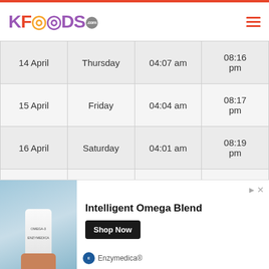KFOODS.com
| Date | Day | Sehr (Fajr) | Iftar |
| --- | --- | --- | --- |
| 14 April | Thursday | 04:07 am | 08:16 pm |
| 15 April | Friday | 04:04 am | 08:17 pm |
| 16 April | Saturday | 04:01 am | 08:19 pm |
| 17 April | Sunday | 03:58 am | 08:20 pm |
| 18 April | Monday | 03:55 am | 08:22 pm |
| 19 April | Tuesday | 03:52 am | 08:23 pm |
|  |  |  | 08:25 |
[Figure (infographic): Advertisement banner for Enzymedica Intelligent Omega Blend supplement with Shop Now button]